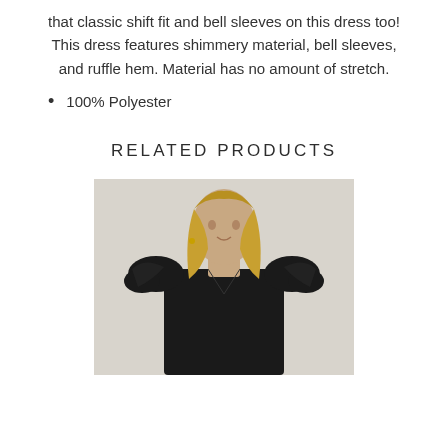that classic shift fit and bell sleeves on this dress too! This dress features shimmery material, bell sleeves, and ruffle hem. Material has no amount of stretch.
100% Polyester
RELATED PRODUCTS
[Figure (photo): A woman with blonde hair wearing a black dress with ruffled/puffed shoulders, photographed against a light background, cropped at chest/shoulder level.]